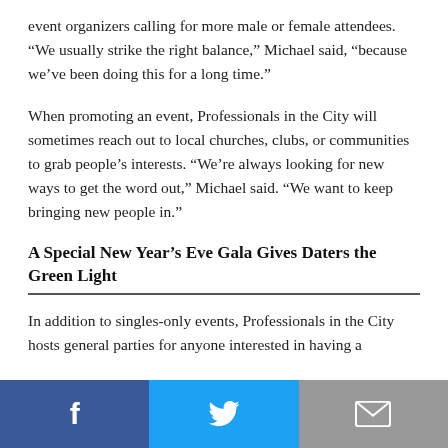event organizers calling for more male or female attendees. “We usually strike the right balance,” Michael said, “because we’ve been doing this for a long time.”
When promoting an event, Professionals in the City will sometimes reach out to local churches, clubs, or communities to grab people’s interests. “We’re always looking for new ways to get the word out,” Michael said. “We want to keep bringing new people in.”
A Special New Year’s Eve Gala Gives Daters the Green Light
In addition to singles-only events, Professionals in the City hosts general parties for anyone interested in having a
[Figure (other): Social media sharing bar with Facebook, Twitter, and Email buttons]